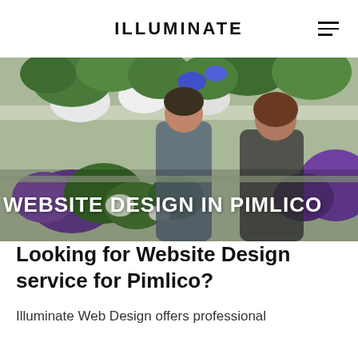ILLUMINATE
[Figure (photo): Two people (a man and a woman) in a flower shop surrounded by potted flowers including purple petunias and greenery on shelves. The woman is smiling. Text overlay reads: WEBSITE DESIGN IN PIMLICO]
Looking for Website Design service for Pimlico?
Illuminate Web Design offers professional